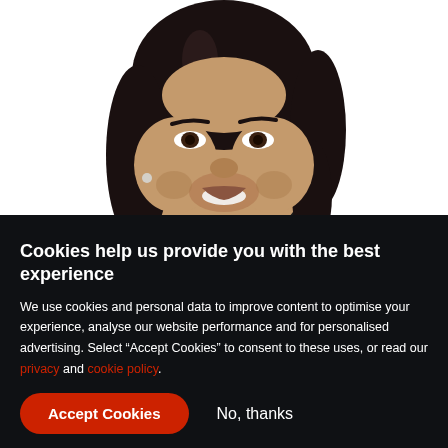[Figure (photo): Black and white portrait photo of a smiling South Asian woman with dark shoulder-length hair, wearing a small earring, against a white background.]
Cookies help us provide you with the best experience
We use cookies and personal data to improve content to optimise your experience, analyse our website performance and for personalised advertising. Select “Accept Cookies” to consent to these uses, or read our privacy and cookie policy.
Accept Cookies
No, thanks